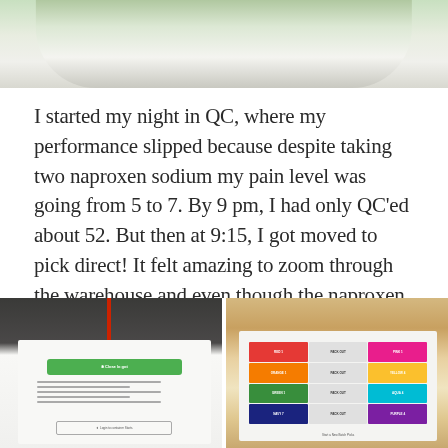[Figure (photo): Top portion of a photo showing a white plate with green food items, partially cropped]
I started my night in QC, where my performance slipped because despite taking two naproxen sodium my pain level was going from 5 to 7. By 9 pm, I had only QC'ed about 52. But then at 9:15, I got moved to pick direct! It felt amazing to zoom through the warehouse and even though the naproxen sodium had worn off, my pain had dropped to a two or a three.
[Figure (photo): Photo of a laptop screen showing a green button interface with text and a QR code section]
[Figure (photo): Photo of a laptop screen showing a color-coded warehouse picking interface with RED, ORANGE, GREEN, NAVY buttons and PACK OUT options, plus PINK, YELLOW, AQUA, PURPLE on the right]